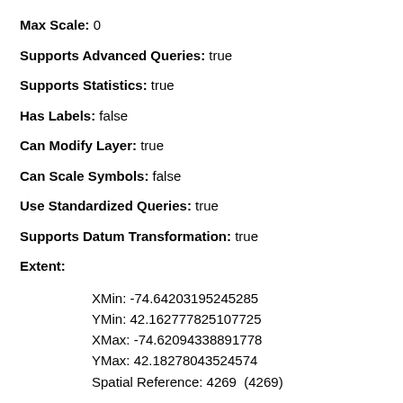Max Scale: 0
Supports Advanced Queries: true
Supports Statistics: true
Has Labels: false
Can Modify Layer: true
Can Scale Symbols: false
Use Standardized Queries: true
Supports Datum Transformation: true
Extent:
XMin: -74.64203195245285
YMin: 42.162777825107725
XMax: -74.62094338891778
YMax: 42.18278043524574
Spatial Reference: 4269  (4269)
Drawing Info: